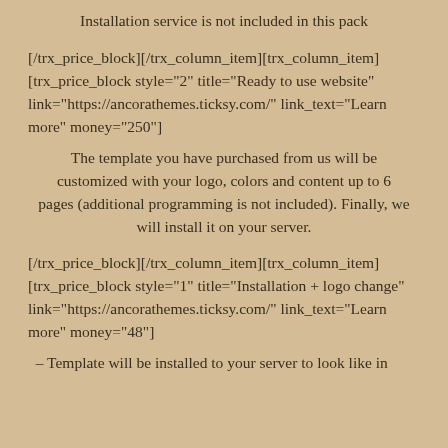Installation service is not included in this pack
[/trx_price_block][/trx_column_item][trx_column_item]
[trx_price_block style="2" title="Ready to use website" link="https://ancorathemes.ticksy.com/" link_text="Learn more" money="250"]
The template you have purchased from us will be customized with your logo, colors and content up to 6 pages (additional programming is not included). Finally, we will install it on your server.
[/trx_price_block][/trx_column_item][trx_column_item]
[trx_price_block style="1" title="Installation + logo change" link="https://ancorathemes.ticksy.com/" link_text="Learn more" money="48"]
– Template will be installed to your server to look like in